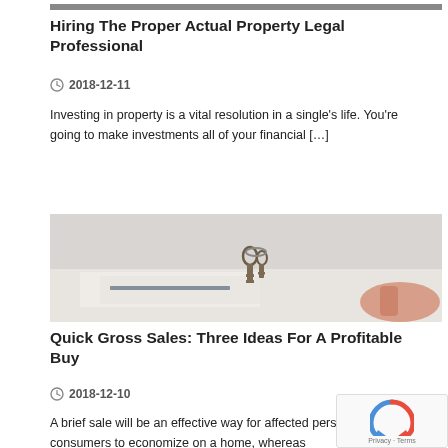[Figure (photo): Partial view of a person (head cropped), top of article image]
Hiring The Proper Actual Property Legal Professional
2018-12-11
Investing in property is a vital resolution in a single's life. You're going to make investments all of your financial […]
[Figure (photo): Keys on a desk with documents and a hand, real estate context]
Quick Gross Sales: Three Ideas For A Profitable Buy
2018-12-10
A brief sale will be an effective way for affected person consumers to economize on a home, whereas